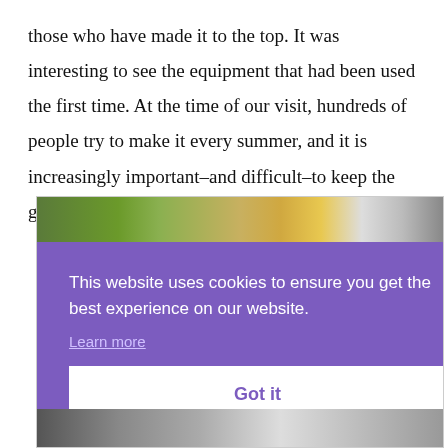those who have made it to the top. It was interesting to see the equipment that had been used the first time. At the time of our visit, hundreds of people try to make it every summer, and it is increasingly important–and difficult–to keep the garbage off the trail.
[Figure (screenshot): A screenshot of a webpage showing a photo of fruit/bananas at the top, overlaid by a purple cookie consent banner reading 'This website uses cookies to ensure you get the best experience on our website. Learn more' with a white 'Got it' button, and a partial photo strip at the bottom.]